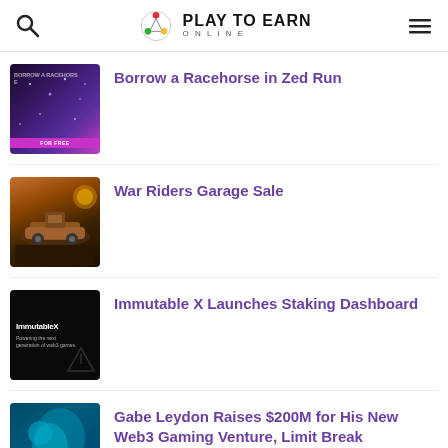Play To Earn Online
Borrow a Racehorse in Zed Run
War Riders Garage Sale
Immutable X Launches Staking Dashboard
Gabe Leydon Raises $200M for His New Web3 Gaming Venture, Limit Break